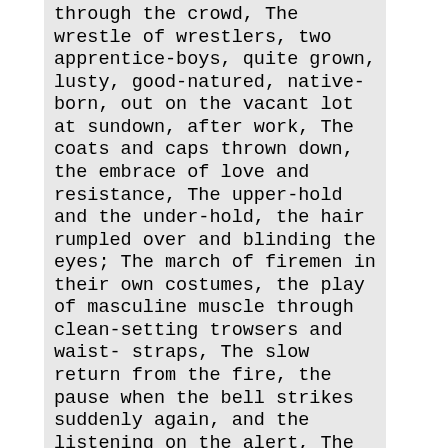through the crowd, The wrestle of wrestlers, two apprentice-boys, quite grown, lusty, good-natured, native-born, out on the vacant lot at sundown, after work, The coats and caps thrown down, the embrace of love and resistance, The upper-hold and the under-hold, the hair rumpled over and blinding the eyes; The march of firemen in their own costumes, the play of masculine muscle through clean-setting trowsers and waist-straps, The slow return from the fire, the pause when the bell strikes suddenly again, and the listening on the alert, The natural, perfect, varied attitudes--the bent head, the curv'd